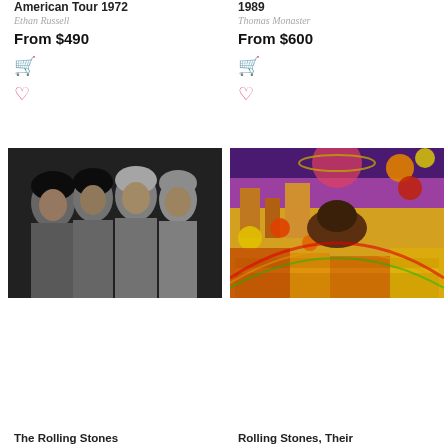American Tour 1972
Ethan Russell
From $490
1989
Thomas Monaster
From $600
[Figure (photo): Black and white photo of The Rolling Stones band members]
[Figure (photo): Colorful psychedelic collage artwork - Rolling Stones Their Satanic Majesties Request]
The Rolling Stones
Rolling Stones, Their